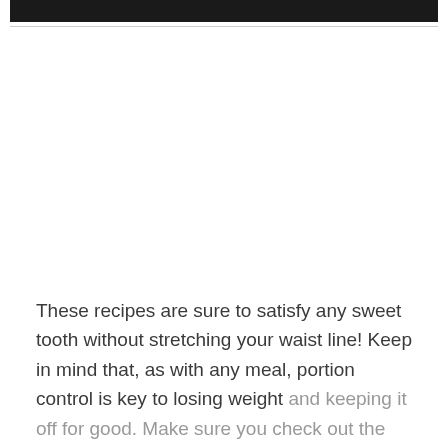[Figure (other): Black header bar at top of page]
These recipes are sure to satisfy any sweet tooth without stretching your waist line! Keep in mind that, as with any meal, portion control is key to losing weight and keeping it off for good. Make sure you check out the serving size listed in the nutritional information on